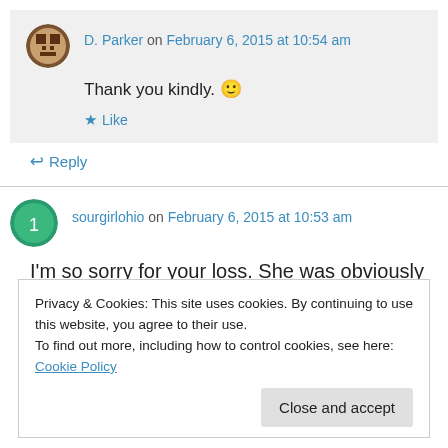D. Parker on February 6, 2015 at 10:54 am
Thank you kindly. 🙂
Like
Reply
sourgirlohio on February 6, 2015 at 10:53 am
I'm so sorry for your loss. She was obviously a
Privacy & Cookies: This site uses cookies. By continuing to use this website, you agree to their use.
To find out more, including how to control cookies, see here: Cookie Policy
Close and accept